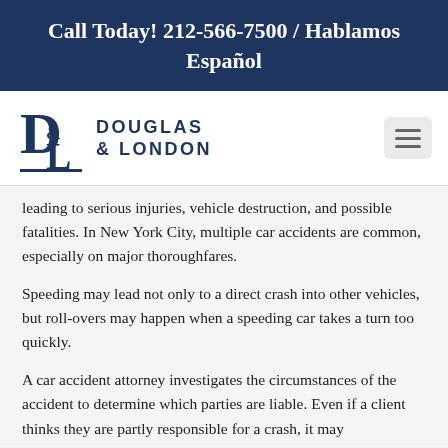Call Today! 212-566-7500 / Hablamos Español
[Figure (logo): Douglas & London law firm logo with stylized D&L monogram and firm name in navy blue]
leading to serious injuries, vehicle destruction, and possible fatalities. In New York City, multiple car accidents are common, especially on major thoroughfares.
Speeding may lead not only to a direct crash into other vehicles, but roll-overs may happen when a speeding car takes a turn too quickly.
A car accident attorney investigates the circumstances of the accident to determine which parties are liable. Even if a client thinks they are partly responsible for a crash, it may